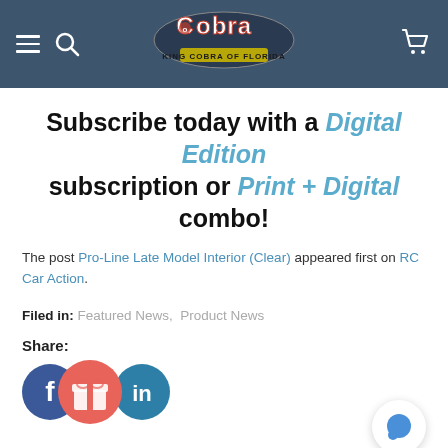King Cobra of Florida — navigation header with logo, hamburger menu, search, and cart icons
Subscribe today with a Digital Edition subscription or Print + Digital combo!
The post Pro-Line Late Model Interior (Clear) appeared first on RC Car Action.
Filed in:  Featured News,  Product News
Share:
[Figure (infographic): Social sharing icons: Facebook (blue circle with f), gift/reward (coral/pink circle with gift box icon), LinkedIn (teal circle with in)]